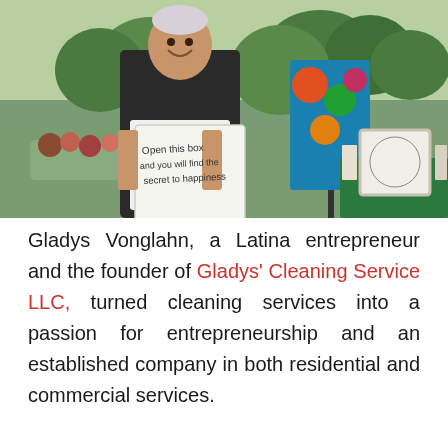[Figure (photo): A woman smiling and holding a handwritten sign that reads 'Open this box and you will find the secret to happiness'. She is wearing a white apron and a polka-dot headband, standing outdoors at what appears to be a market or fair booth. There is a colorful patterned display board behind her and a framed sign on a green table to the right.]
Gladys Vonglahn, a Latina entrepreneur and the founder of Gladys' Cleaning Service LLC, turned cleaning services into a passion for entrepreneurship and an established company in both residential and commercial services.